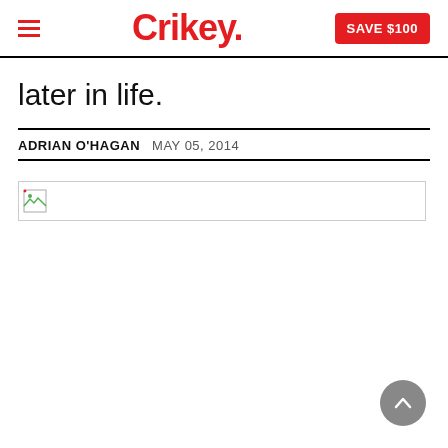Crikey. SAVE $100
later in life.
ADRIAN O'HAGAN  MAY 05, 2014
[Figure (other): Broken/unloaded image placeholder shown as a small icon with a border box]